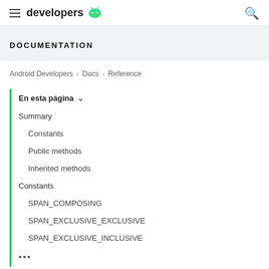developers (Android logo)
DOCUMENTATION
Android Developers > Docs > Reference
En esta página ∨
Summary
Constants
Public methods
Inherited methods
Constants
SPAN_COMPOSING
SPAN_EXCLUSIVE_EXCLUSIVE
SPAN_EXCLUSIVE_INCLUSIVE
•••